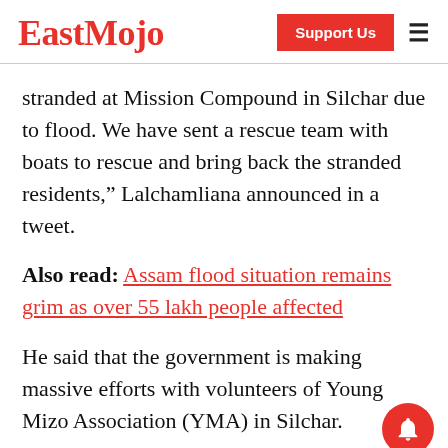EastMojo
stranded at Mission Compound in Silchar due to flood. We have sent a rescue team with boats to rescue and bring back the stranded residents,” Lalchamliana announced in a tweet.
Also read: Assam flood situation remains grim as over 55 lakh people affected
He said that the government is making massive efforts with volunteers of Young Mizo Association (YMA) in Silchar.